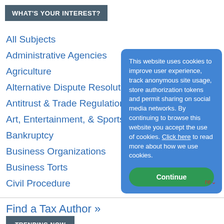WHAT'S YOUR INTEREST?
All Subjects
Administrative Agencies
Agriculture
Alternative Dispute Resolution (A…
Antitrust & Trade Regulation
Art, Entertainment, & Sports
Bankruptcy
Business Organizations
Business Torts
Civil Procedure
This website uses cookies to improve user experience, track anonymous site usage, store authorization tokens and permit sharing on social media networks. By continuing to browse this website you accept the use of cookies. Click here to read more about how we use cookies.
Continue
Find a Tax Author »
TRENDING NOW